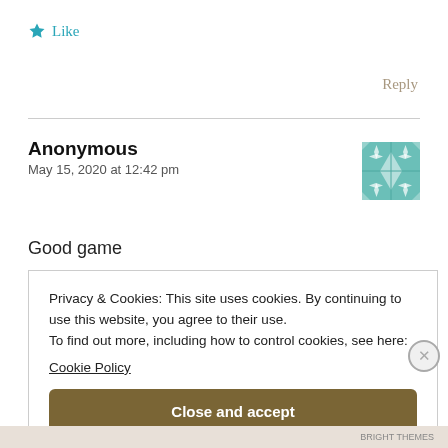★ Like
Reply
Anonymous
May 15, 2020 at 12:42 pm
[Figure (illustration): Teal geometric quilt-pattern avatar icon]
Good game
Privacy & Cookies: This site uses cookies. By continuing to use this website, you agree to their use.
To find out more, including how to control cookies, see here:
Cookie Policy
Close and accept